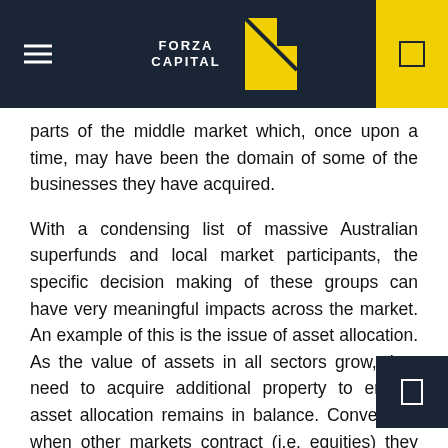FORZA CAPITAL
parts of the middle market which, once upon a time, may have been the domain of some of the businesses they have acquired.
With a condensing list of massive Australian superfunds and local market participants, the specific decision making of these groups can have very meaningful impacts across the market. An example of this is the issue of asset allocation. As the value of assets in all sectors grow, they need to acquire additional property to ensure asset allocation remains in balance. Conversely, when other markets contract (i.e. equities) they need to divest property to maintain this balance. This may influence the amplitude of the market cycle, resulting in higher highs and lower lows as the number of competitors shrink, but market based competitive forces increase (excess demand, limited assets). Thus, there are likely to be some distortive effects to traditional market economies.